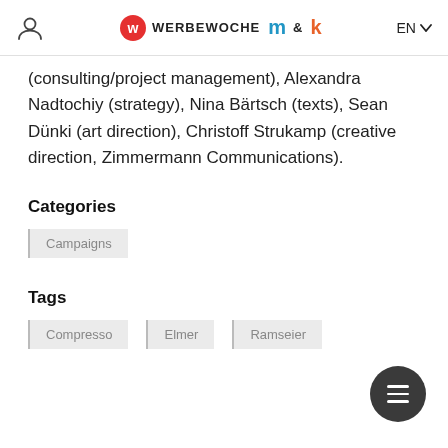WERBEWOCHE m&k EN
(consulting/project management), Alexandra Nadtochiy (strategy), Nina Bärtsch (texts), Sean Dünki (art direction), Christoff Strukamp (creative direction, Zimmermann Communications).
Categories
Campaigns
Tags
Compresso
Elmer
Ramseier